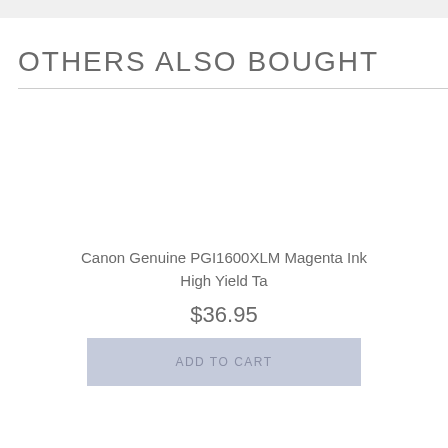OTHERS ALSO BOUGHT
Canon Genuine PGI1600XLM Magenta Ink High Yield Ta
$36.95
ADD TO CART